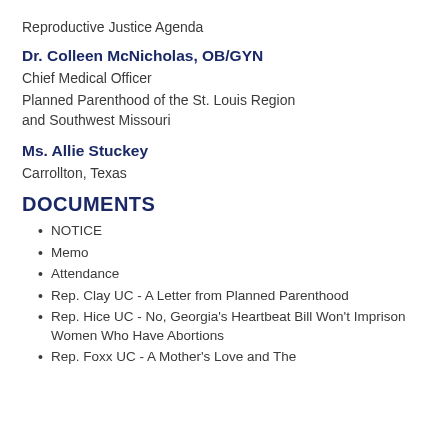Reproductive Justice Agenda
Dr. Colleen McNicholas, OB/GYN
Chief Medical Officer
Planned Parenthood of the St. Louis Region and Southwest Missouri
Ms. Allie Stuckey
Carrollton, Texas
DOCUMENTS
NOTICE
Memo
Attendance
Rep. Clay UC - A Letter from Planned Parenthood
Rep. Hice UC - No, Georgia's Heartbeat Bill Won't Imprison Women Who Have Abortions
Rep. Foxx UC - A Mother's Love and The